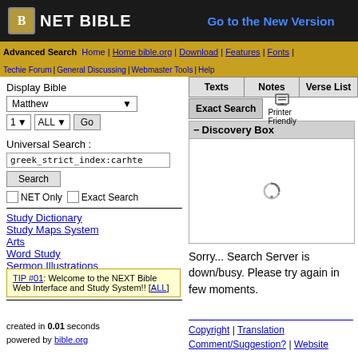NET BIBLE | Go to the New Version
Advanced Search | Home | Home bible.org | Download | Features | Fonts | Techie Forum | General Discussing | Webmaster Tools | Help
Display Bible
Matthew
1 | ALL
Universal Search :
greek_strict_index:carhte
Search
NET Only | Exact Search
Study Dictionary
Study Maps System
Arts
Word Study
Sermon Illustrations
Daily Bible Reading
iPhone/Mobile NET Bible
TIP #01: Welcome to the NEXT Bible Web Interface and Study System!! [ALL]
created in 0.01 seconds
powered by bible.org
Texts | Notes | Verse List
Exact Search | Printer Friendly
[Figure (other): Discovery Box with loading spinner]
Sorry... Search Server is down/busy. Please try again in few moments.
Copyright | Translation Comment/Suggestion? | Website